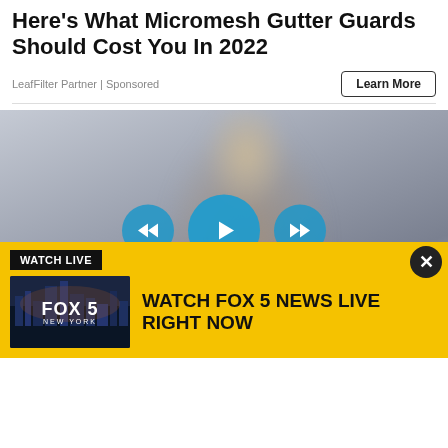Here's What Micromesh Gutter Guards Should Cost You In 2022
LeafFilter Partner | Sponsored
[Figure (screenshot): Video player showing a blurred person pressing a glowing play button interface with rewind and fast-forward controls on a teal/blue background]
[Figure (infographic): Fox 5 News advertisement bar with yellow background, 'WATCH LIVE' label, Fox 5 New York thumbnail, and text 'WATCH FOX 5 NEWS LIVE RIGHT NOW']